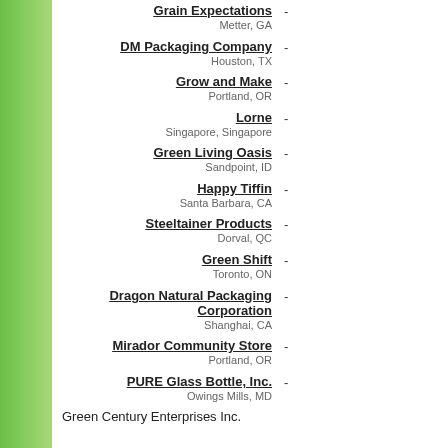Grain Expectations - Metter, GA
DM Packaging Company - Houston, TX
Grow and Make - Portland, OR
Lorne - Singapore, Singapore
Green Living Oasis - Sandpoint, ID
Happy Tiffin - Santa Barbara, CA
Steeltainer Products - Dorval, QC
Green Shift - Toronto, ON
Dragon Natural Packaging Corporation - Shanghai, CA
Mirador Community Store - Portland, OR
PURE Glass Bottle, Inc. - Owings Mills, MD
Green Century Enterprises Inc.